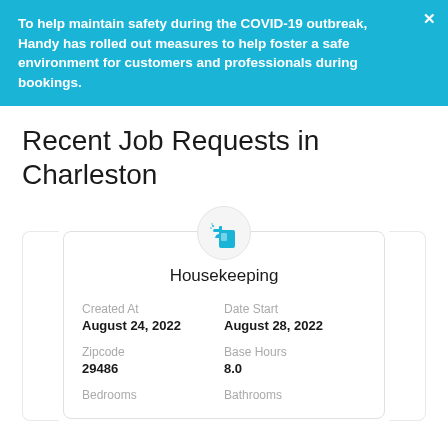To help maintain safety during the COVID-19 outbreak, Handy has rolled out measures to help foster a safe environment for customers and professionals during bookings.
Recent Job Requests in Charleston
[Figure (illustration): Spray bottle cleaning icon in teal/cyan color inside a light gray circle]
Housekeeping
| Field | Value |
| --- | --- |
| Created At | Date Start |
| August 24, 2022 | August 28, 2022 |
| Zipcode | Base Hours |
| 29486 | 8.0 |
| Bedrooms | Bathrooms |